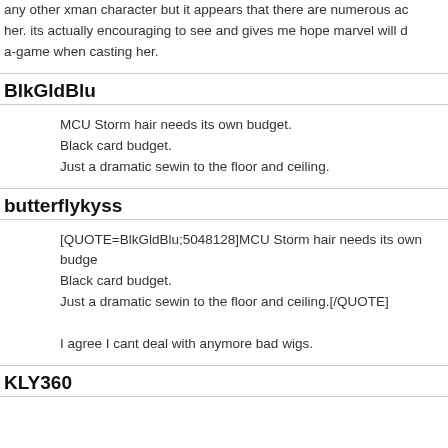any other xman character but it appears that there are numerous ac her. its actually encouraging to see and gives me hope marvel will d a-game when casting her.
BlkGldBlu
MCU Storm hair needs its own budget.
Black card budget.
Just a dramatic sewin to the floor and ceiling.
butterflykyss
[QUOTE=BlkGldBlu;5048128]MCU Storm hair needs its own budge Black card budget.
Just a dramatic sewin to the floor and ceiling.[/QUOTE]

I agree I cant deal with anymore bad wigs.
KLY360